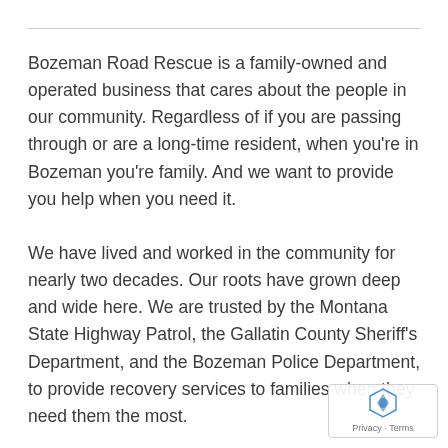Bozeman Road Rescue is a family-owned and operated business that cares about the people in our community. Regardless of if you are passing through or are a long-time resident, when you're in Bozeman you're family. And we want to provide you help when you need it.
We have lived and worked in the community for nearly two decades. Our roots have grown deep and wide here. We are trusted by the Montana State Highway Patrol, the Gallatin County Sheriff's Department, and the Bozeman Police Department, to provide recovery services to families when they need them the most.